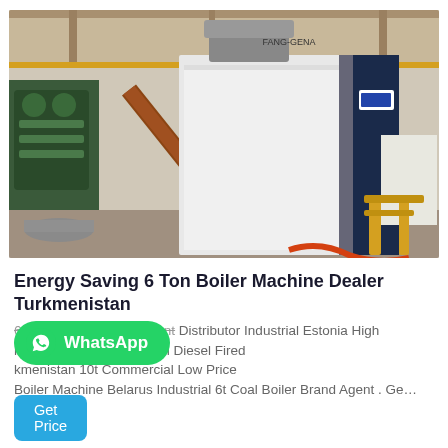[Figure (photo): Industrial boiler machine in a factory/warehouse setting. A large white and navy blue boiler unit is shown with pipes and industrial equipment in the background.]
Energy Saving 6 Ton Boiler Machine Dealer Turkmenistan
6 Ton Biomass Boiler Plant Distributor Industrial Estonia High nd Dealer Armenia 10 Ton Diesel Fired kmenistan 10t Commercial Low Price Boiler Machine Belarus Industrial 6t Coal Boiler Brand Agent . Ge…